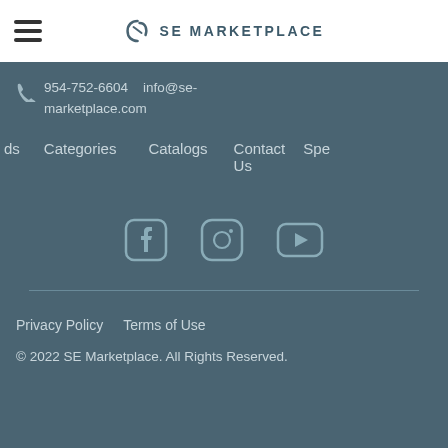SE MARKETPLACE
954-752-6604   info@se-marketplace.com
ds   Categories   Catalogs   Contact Us   Spe
[Figure (other): Social media icons: Facebook, Instagram, YouTube]
Privacy Policy   Terms of Use
© 2022 SE Marketplace. All Rights Reserved.